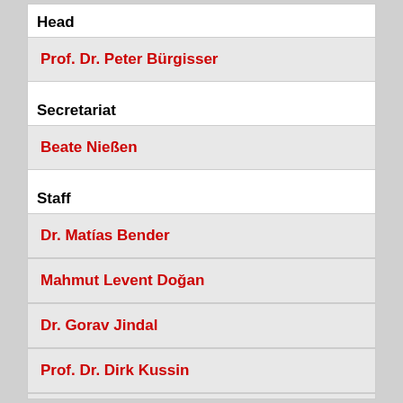Head
Prof. Dr. Peter Bürgisser
Secretariat
Beate Nießen
Staff
Dr. Matías Bender
Mahmut Levent Doğan
Dr. Gorav Jindal
Prof. Dr. Dirk Kussin
Philipp Reichenbach